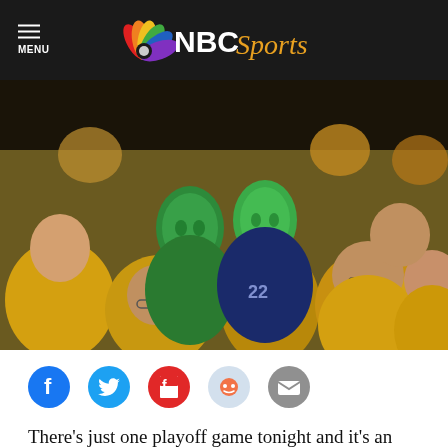MENU | NBC Sports
[Figure (photo): Hockey fans in the stands, mostly wearing yellow Pittsburgh Penguins shirts. Two fans in the center are wearing full green morphsuit/zentai bodysuits covering their entire heads and faces. One wears a navy blue Vancouver Canucks jersey. The surrounding fans look displeased or dejected.]
[Figure (infographic): Social sharing buttons row: Facebook (blue circle with f), Twitter (blue circle with bird), Flipboard (red circle with f), Reddit (light blue circle with alien), Email (gray circle with envelope)]
There's just one playoff game tonight and it's an important one to determine the control of the series